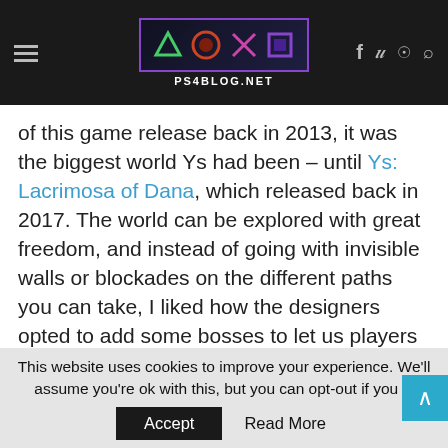ps4blog.net [site header with logo and navigation icons]
of this game release back in 2013, it was the biggest world Ys had been – until Ys: Lacrimosa of Dana, which released back in 2017. The world can be explored with great freedom, and instead of going with invisible walls or blockades on the different paths you can take, I liked how the designers opted to add some bosses to let us players know when they get on a path that we shouldn't go yet.
This website uses cookies to improve your experience. We'll assume you're ok with this, but you can opt-out if you w